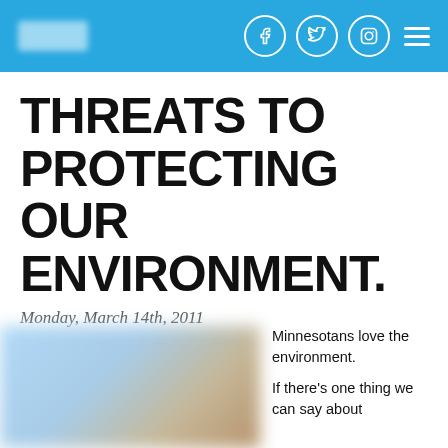[logo] [facebook] [twitter] [instagram] [menu]
THREATS TO PROTECTING OUR ENVIRONMENT.
Monday, March 14th, 2011
[Figure (other): Social share icons row: Facebook, Twitter, Email, Copy]
[Figure (photo): Blurred outdoor photo, blue sky and brown/tan ground element]
Minnesotans love the environment.

If there's one thing we can say about